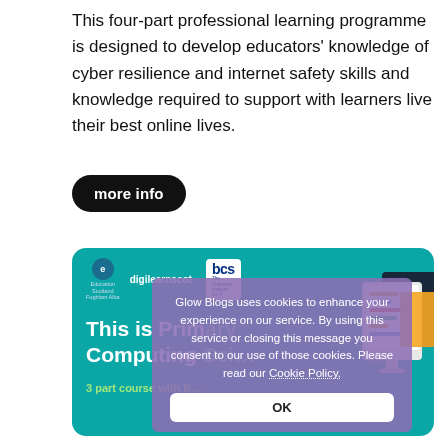This four-part professional learning programme is designed to develop educators' knowledge of cyber resilience and internet safety skills and knowledge required to support with learners live their best online lives.
more info
[Figure (screenshot): A teal/turquoise card showing 'This is Primary Computing Science' with digilearn scot and BCS logos at the top, '3 part course with B...' at the bottom, and an illustration of computing devices on the right. A cookie consent overlay reads: 'Glow Blogs uses cookies to enhance your experience on our service. By using this service or closing this message you consent to our use of those cookies. Please read our Cookie Policy.' with an OK button.]